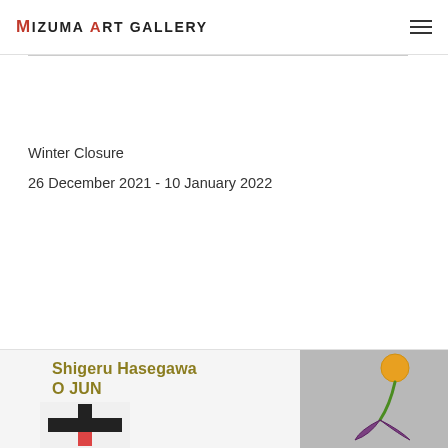Mizuma Art Gallery
Winter Closure
26 December 2021 - 10 January 2022
[Figure (illustration): Exhibition poster showing 'Shigeru Hasegawa O JUN' text in gold/olive color with a geometric black cross artwork below on the left, and a painted image of a plant with orange ball and purple leaf on grey background on the right.]